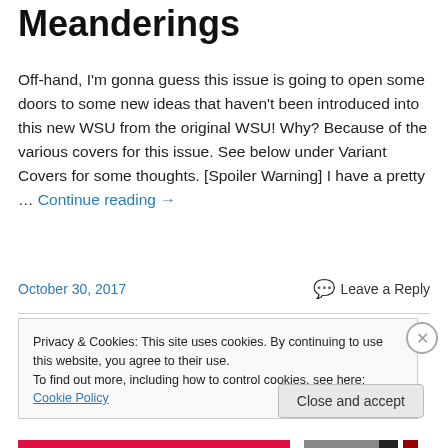Meanderings
Off-hand, I'm gonna guess this issue is going to open some doors to some new ideas that haven't been introduced into this new WSU from the original WSU! Why?  Because of the various covers for this issue.  See below under Variant Covers for some thoughts. [Spoiler Warning] I have a pretty … Continue reading →
October 30, 2017   Leave a Reply
Privacy & Cookies: This site uses cookies. By continuing to use this website, you agree to their use.
To find out more, including how to control cookies, see here: Cookie Policy